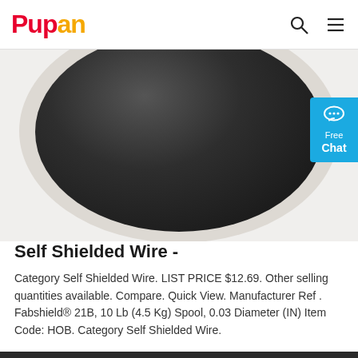Pupan
[Figure (photo): Top-down view of a black wire spool/reel with a white/cream colored rim on a light gray background]
Self Shielded Wire -
Category Self Shielded Wire. LIST PRICE $12.69. Other selling quantities available. Compare. Quick View. Manufacturer Ref . Fabshield® 21B, 10 Lb (4.5 Kg) Spool, 0.03 Diameter (IN) Item Code: HOB. Category Self Shielded Wire.
Get Price